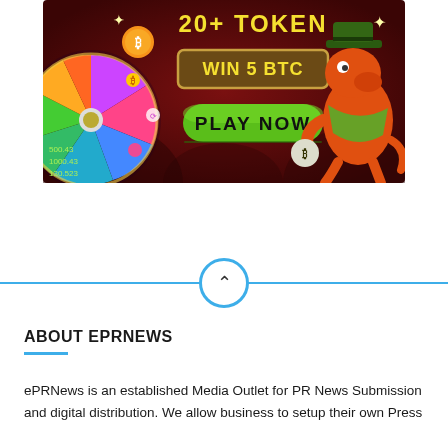[Figure (illustration): Cryptocurrency casino advertisement banner with dark red background, a spinning wheel with tokens on the left, Bitcoin coin, '20+ TOKEN' text in yellow, 'WIN 5 BTC' in a brown bordered box, a green 'PLAY NOW' button, and an orange cartoon dinosaur character wearing a cowboy hat on the right.]
ABOUT EPRNEWS
ePRNews is an established Media Outlet for PR News Submission and digital distribution. We allow business to setup their own Press